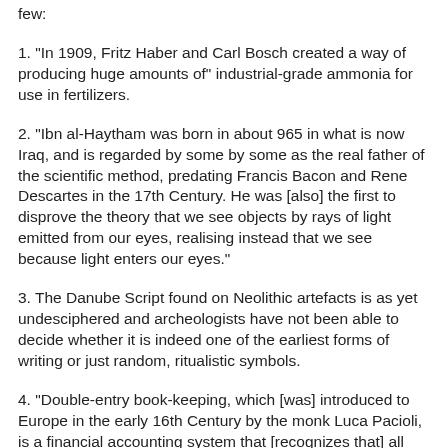few:
1. "In 1909, Fritz Haber and Carl Bosch created a way of producing huge amounts of" industrial-grade ammonia for use in fertilizers.
2. "Ibn al-Haytham was born in about 965 in what is now Iraq, and is regarded by some by some as the real father of the scientific method, predating Francis Bacon and Rene Descartes in the 17th Century. He was [also] the first to disprove the theory that we see objects by rays of light emitted from our eyes, realising instead that we see because light enters our eyes."
3. The Danube Script found on Neolithic artefacts is as yet undesciphered and archeologists have not been able to decide whether it is indeed one of the earliest forms of writing or just random, ritualistic symbols.
4. "Double-entry book-keeping, which [was] introduced to Europe in the early 16th Century by the monk Luca Pacioli, is a financial accounting system that [recognizes that] all